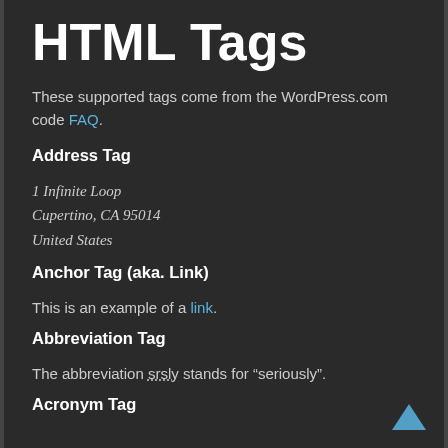HTML Tags
These supported tags come from the WordPress.com code FAQ.
Address Tag
1 Infinite Loop
Cupertino, CA 95014
United States
Anchor Tag (aka. Link)
This is an example of a link.
Abbreviation Tag
The abbreviation srsly stands for “seriously”.
Acronym Tag